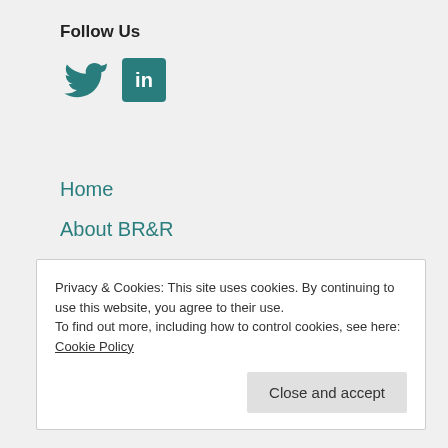Follow Us
[Figure (logo): Twitter bird icon and LinkedIn icon in teal color]
Home
About BR&R
Biosimilar Approval Status
Contact Us
Terms and Conditions
Privacy & Cookies: This site uses cookies. By continuing to use this website, you agree to their use.
To find out more, including how to control cookies, see here:
Cookie Policy
Close and accept